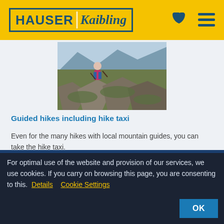Hauser Kaibling
[Figure (photo): Person hiking on rocky mountain trail wearing pink backpack, alpine landscape with mountains in background]
Guided hikes including hike taxi
Even for the many hikes with local mountain guides, you can take the hike taxi.
For optimal use of the website and provision of our services, we use cookies. If you carry on browsing this page, you are consenting to this. Details Cookie Settings
OK